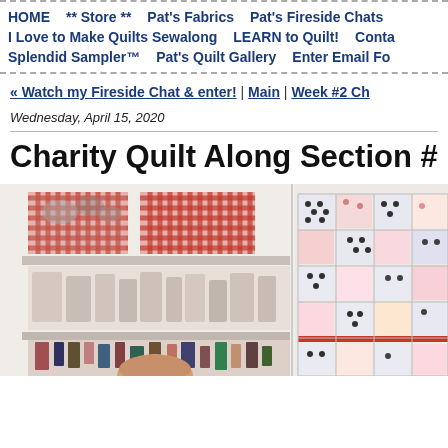HOME  ** Store **  Pat's Fabrics  Pat's Fireside Chats  I Love to Make Quilts Sewalong  LEARN to Quilt!  Conta...  Splendid Sampler™  Pat's Quilt Gallery  Enter Email Fo...
« Watch my Fireside Chat & enter! | Main | Week #2 Ch...
Wednesday, April 15, 2020
Charity Quilt Along Section #...
[Figure (photo): Photo showing a sewing/quilting room with red checkered fabric storage baskets on white shelves on the left side, and a partially visible quilt with polka dot and pink patterned squares pinned to a wall on the right side. A person with light hair is barely visible at the bottom center.]